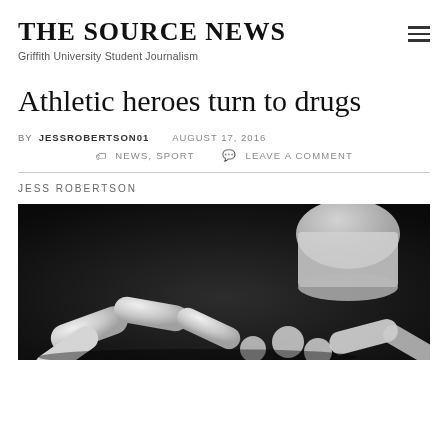THE SOURCE NEWS
Griffith University Student Journalism
Athletic heroes turn to drugs
BY JESSROBERTSON01   AUGUST 17, 2016
NEWS, SPORT   LEAVE A COMMENT
JESS ROBERTSON
[Figure (photo): Close-up photograph of white pills/capsules spilling from a container against a dark background]